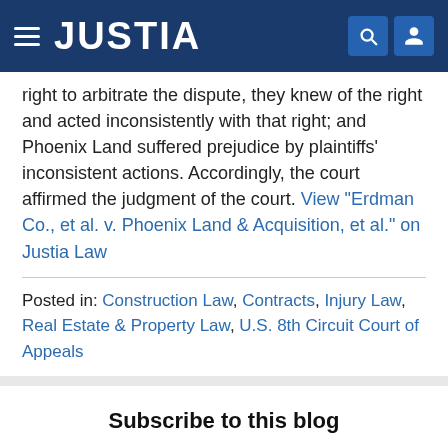JUSTIA
right to arbitrate the dispute, they knew of the right and acted inconsistently with that right; and Phoenix Land suffered prejudice by plaintiffs' inconsistent actions. Accordingly, the court affirmed the judgment of the court. View "Erdman Co., et al. v. Phoenix Land & Acquisition, et al." on Justia Law
Posted in: Construction Law, Contracts, Injury Law, Real Estate & Property Law, U.S. 8th Circuit Court of Appeals
Subscribe to this blog
[Figure (logo): RSS feed orange icon with white wifi/signal waves symbol]